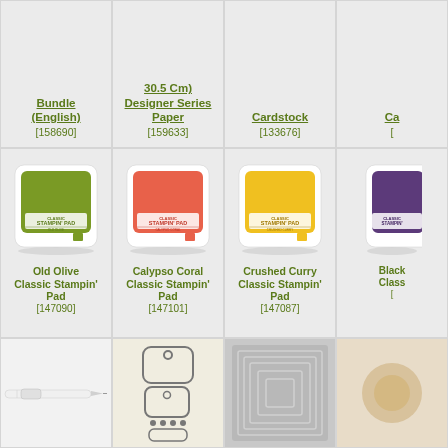Bundle (English) [158690]
30.5 Cm) Designer Series Paper [159633]
Cardstock [133676]
Ca...
[Figure (photo): Old Olive Classic Stampin' Pad ink pad product image]
[Figure (photo): Calypso Coral Classic Stampin' Pad ink pad product image]
[Figure (photo): Crushed Curry Classic Stampin' Pad ink pad product image]
[Figure (photo): Black Classic Stampin' Pad ink pad product image (partially visible)]
Old Olive Classic Stampin' Pad [147090]
Calypso Coral Classic Stampin' Pad [147101]
Crushed Curry Classic Stampin' Pad [147087]
Black Class... [1...]
[Figure (photo): Aqua painter pen tool]
[Figure (photo): Tag punch dies/shapes]
[Figure (photo): Rectangle embossing folder with geometric pattern]
[Figure (photo): Twine or string product (partially visible)]